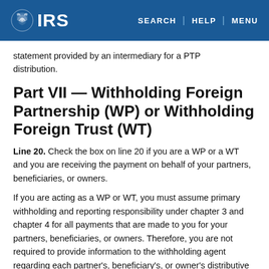IRS | SEARCH | HELP | MENU
statement provided by an intermediary for a PTP distribution.
Part VII — Withholding Foreign Partnership (WP) or Withholding Foreign Trust (WT)
Line 20. Check the box on line 20 if you are a WP or a WT and you are receiving the payment on behalf of your partners, beneficiaries, or owners.
If you are acting as a WP or WT, you must assume primary withholding and reporting responsibility under chapter 3 and chapter 4 for all payments that are made to you for your partners, beneficiaries, or owners. Therefore, you are not required to provide information to the withholding agent regarding each partner's, beneficiary's, or owner's distributive share of the payment and the